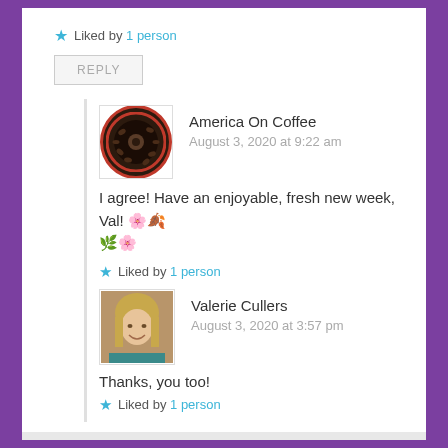⭐ Liked by 1 person
REPLY
America On Coffee
August 3, 2020 at 9:22 am
I agree! Have an enjoyable, fresh new week, Val! 🌸🍂🌿🌸
⭐ Liked by 1 person
Valerie Cullers
August 3, 2020 at 3:57 pm
Thanks, you too!
⭐ Liked by 1 person